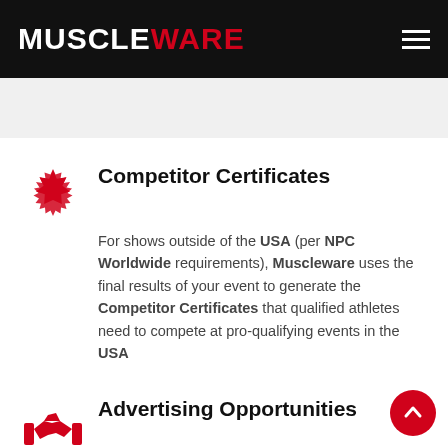MUSCLEWARE
Competitor Certificates
For shows outside of the USA (per NPC Worldwide requirements), Muscleware uses the final results of your event to generate the Competitor Certificates that qualified athletes need to compete at pro-qualifying events in the USA
Advertising Opportunities
Muscleware provides additional income for Promoters by offering prime advertising facilities for Event...